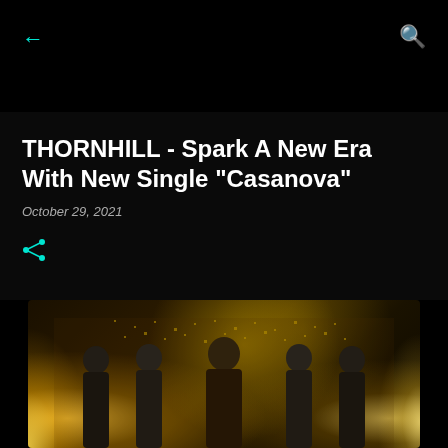← (back) | 🔍 (search)
THORNHILL - Spark A New Era With New Single "Casanova"
October 29, 2021
[Figure (photo): Band photo of THORNHILL — five members standing in front of a gold/glitter backdrop with stage lighting on left and right sides]